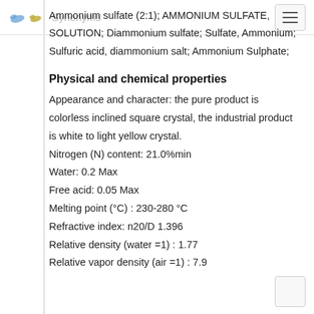Synonyms
Ammonium sulfate (2:1); AMMONIUM SULFATE, SOLUTION; Diammonium sulfate; Sulfate, Ammonium; Sulfuric acid, diammonium salt; Ammonium Sulphate;
Physical and chemical properties
Appearance and character: the pure product is colorless inclined square crystal, the industrial product is white to light yellow crystal.
Nitrogen (N) content: 21.0%min
Water: 0.2 Max
Free acid: 0.05 Max
Melting point (°C) : 230-280 °C
Refractive index: n20/D 1.396
Relative density (water =1) : 1.77
Relative vapor density (air =1) : 7.9